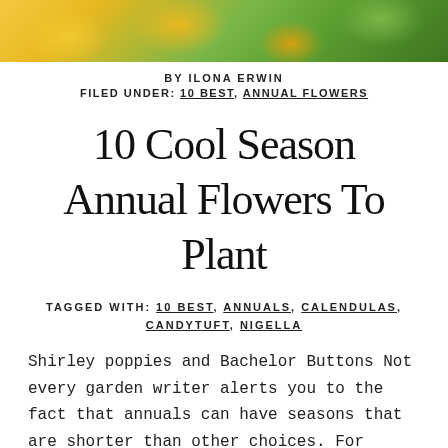[Figure (photo): Photograph of yellow and green flowers, including daisies or sunflowers with green foliage, cropped as a horizontal banner at the top of the page.]
BY ILONA ERWIN
FILED UNDER: 10 BEST, ANNUAL FLOWERS
10 Cool Season Annual Flowers To Plant
TAGGED WITH: 10 BEST, ANNUALS, CALENDULAS, CANDYTUFT, NIGELLA
Shirley poppies and Bachelor Buttons Not every garden writer alerts you to the fact that annuals can have seasons that are shorter than other choices. For places like Ohio which have hot summers, there are common annuals that only do well when … [Read more...]